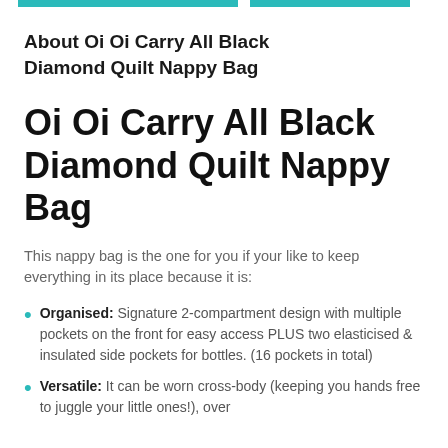About Oi Oi Carry All Black Diamond Quilt Nappy Bag
Oi Oi Carry All Black Diamond Quilt Nappy Bag
This nappy bag is the one for you if your like to keep everything in its place because it is:
Organised: Signature 2-compartment design with multiple pockets on the front for easy access PLUS two elasticised & insulated side pockets for bottles. (16 pockets in total)
Versatile: It can be worn cross-body (keeping you hands free to juggle your little ones!), over